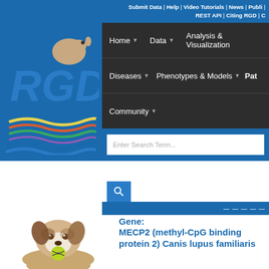Submit Data | Help | Video Tutorials | News | Public | REST API | Citing RGD | C
[Figure (screenshot): RGD website navigation with logo (rat on DNA helix), menu items: Home, Data, Analysis & Visualization, Diseases, Phenotypes & Models, Pat, Community; search input box and search button]
[Figure (photo): Jack Russell Terrier dog holding a tennis ball in its mouth, sitting position]
Gene: MECP2 (methyl-CpG binding protein 2) Canis lupus familiaris
| Field | Value |
| --- | --- |
| Symbol: | MECP2 |
| Name: | methyl-CpG bin... |
| RGD ID: | 12154441 |
| Description: | ENCODES a p... |
Summary
Annotation